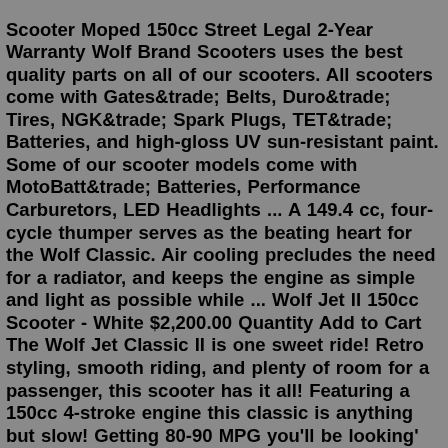Scooter Moped 150cc Street Legal 2-Year Warranty Wolf Brand Scooters uses the best quality parts on all of our scooters. All scooters come with Gates&trade; Belts, Duro&trade; Tires, NGK&trade; Spark Plugs, TET&trade; Batteries, and high-gloss UV sun-resistant paint. Some of our scooter models come with MotoBatt&trade; Batteries, Performance Carburetors, LED Headlights ... A 149.4 cc, four-cycle thumper serves as the beating heart for the Wolf Classic. Air cooling precludes the need for a radiator, and keeps the engine as simple and light as possible while ... Wolf Jet II 150cc Scooter - White $2,200.00 Quantity Add to Cart The Wolf Jet Classic II is one sweet ride! Retro styling, smooth riding, and plenty of room for a passenger, this scooter has it all! Featuring a 150cc 4-stroke engine this classic is anything but slow! Getting 80-90 MPG you'll be looking' good and saving money! Engine: 4-Stroke 150ccThe Wolf Jet Classic II is one sweet ride! Retro styling, smooth riding, and plenty of room for a passenger, this scooter has it all! Featuring a 150cc 4-stroke engine